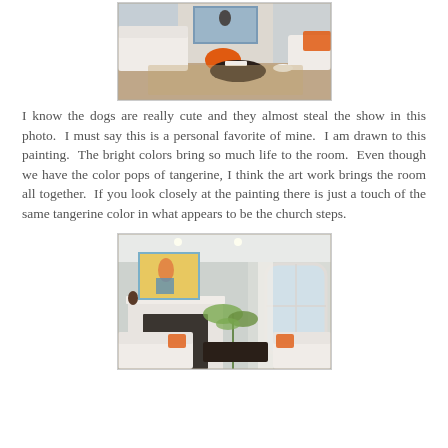[Figure (photo): Interior living room photo showing white sofas, an orange pouf, a dark coffee table with books, an orange throw, and a decorative rug. Two dogs are visible in the scene.]
I know the dogs are really cute and they almost steal the show in this photo.  I must say this is a personal favorite of mine.  I am drawn to this painting.  The bright colors bring so much life to the room.  Even though we have the color pops of tangerine, I think the art work brings the room all together.  If you look closely at the painting there is just a touch of the same tangerine color in what appears to be the church steps.
[Figure (photo): Interior living room photo with light gray walls, white trim, a colorful painting above a white fireplace mantel, large arched windows with sheer curtains, white sofas with orange accent pillows, a dark coffee table, and a tall plant.]